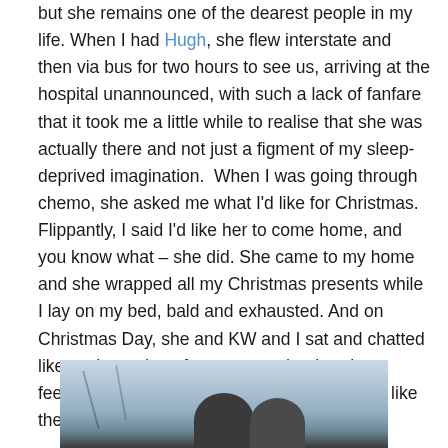but she remains one of the dearest people in my life. When I had Hugh, she flew interstate and then via bus for two hours to see us, arriving at the hospital unannounced, with such a lack of fanfare that it took me a little while to realise that she was actually there and not just a figment of my sleep-deprived imagination.  When I was going through chemo, she asked me what I'd like for Christmas. Flippantly, I said I'd like her to come home, and you know what – she did. She came to my home and she wrapped all my Christmas presents while I lay on my bed, bald and exhausted. And on Christmas Day, she and KW and I sat and chatted like we have done for years, and rather than feeling like someone with breast cancer, I felt like the luckiest person in the world.
[Figure (photo): A partial photo showing two people from behind or side, with a wintry outdoor background with bare tree branches and a pale sky.]